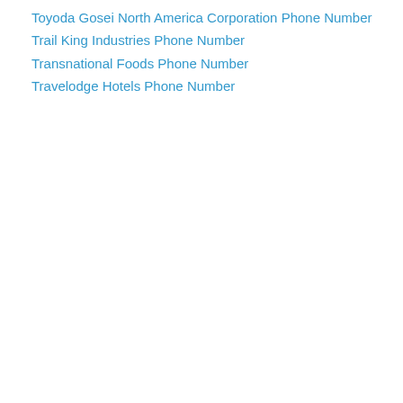Toyoda Gosei North America Corporation Phone Number
Trail King Industries Phone Number
Transnational Foods Phone Number
Travelodge Hotels Phone Number